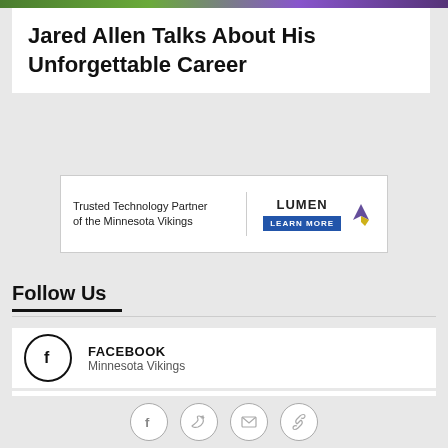[Figure (photo): Partial top image strip visible at top of page]
Jared Allen Talks About His Unforgettable Career
[Figure (infographic): Advertisement banner: Trusted Technology Partner of the Minnesota Vikings - LUMEN - LEARN MORE]
Follow Us
FACEBOOK
Minnesota Vikings
INSTAGRAM
Vikings
SNAPCHAT
Vikings